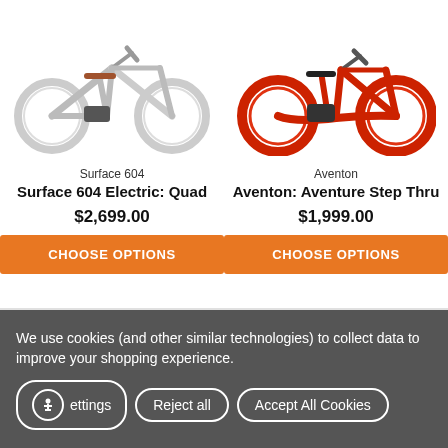[Figure (photo): White electric mountain bike (Surface 604 Electric: Quad) on white background]
[Figure (photo): Red electric fat-tire step-thru bike (Aventon Aventure Step Thru) on white background]
Surface 604
Aventon
Surface 604 Electric: Quad
Aventon: Aventure Step Thru
$2,699.00
$1,999.00
CHOOSE OPTIONS
CHOOSE OPTIONS
We use cookies (and other similar technologies) to collect data to improve your shopping experience.
Settings
Reject all
Accept All Cookies